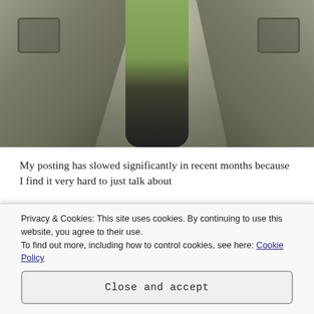[Figure (photo): A person wearing a gray corduroy cardigan over a light green shirt and dark pants. Only the torso is visible, showing the cardigan with two front pockets.]
My posting has slowed significantly in recent months because I find it very hard to just talk about
Privacy & Cookies: This site uses cookies. By continuing to use this website, you agree to their use.
To find out more, including how to control cookies, see here: Cookie Policy
Close and accept
toddler for the vast majority of my first trimester. It